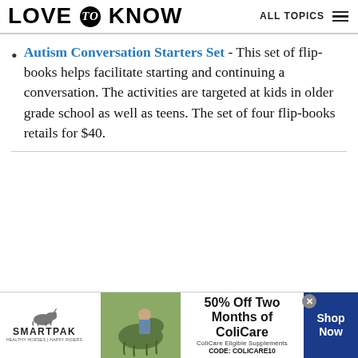LOVE to KNOW | ALL TOPICS
Autism Conversation Starters Set - This set of flip-books helps facilitate starting and continuing a conversation. The activities are targeted at kids in older grade school as well as teens. The set of four flip-books retails for $40.
[Figure (illustration): SmartPak advertisement banner: 50% Off Two Months of ColiCare, ColiCare Eligible Supplements, CODE: COLICARE10, Shop Now button]